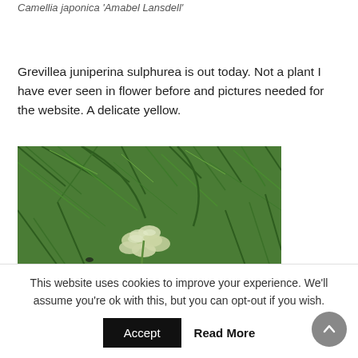Camellia japonica 'Amabel Lansdell'
Grevillea juniperina sulphurea is out today. Not a plant I have ever seen in flower before and pictures needed for the website. A delicate yellow.
[Figure (photo): Close-up photo of Grevillea juniperina sulphurea plant showing needle-like green foliage and small pale yellowish-white flowers]
This website uses cookies to improve your experience. We'll assume you're ok with this, but you can opt-out if you wish.